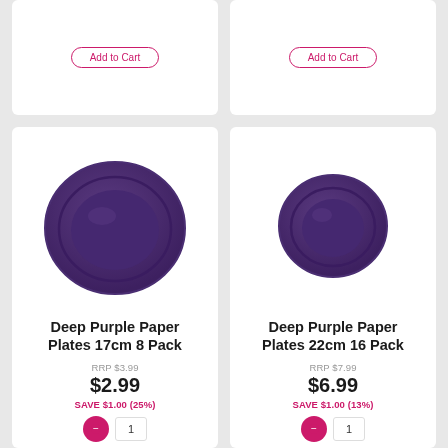[Figure (photo): Partial top-left product card with Add to Cart button]
[Figure (photo): Partial top-right product card with Add to Cart button]
[Figure (photo): Deep purple paper plate 17cm, large circular plate on white background]
Deep Purple Paper Plates 17cm 8 Pack
RRP $3.99
$2.99
SAVE $1.00 (25%)
[Figure (photo): Deep purple paper plate 22cm, smaller circular plate on white background]
Deep Purple Paper Plates 22cm 16 Pack
RRP $7.99
$6.99
SAVE $1.00 (13%)